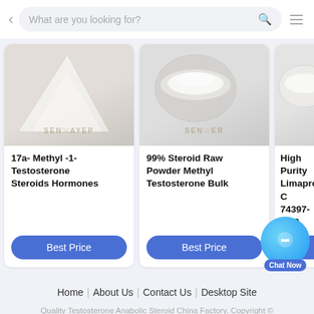What are you looking for?
[Figure (screenshot): Product card: 17a- Methyl -1- Testosterone Steroids Hormones with powder image and Best Price button]
[Figure (screenshot): Product card: 99% Steroid Raw Powder Methyl Testosterone Bulk with powder bowl image and Best Price button]
[Figure (screenshot): Partial product card: High Purity Limaprost C 74397-12-9 with partial Best Price button]
Home | About Us | Contact Us | Desktop Site
Quality Testosterone Anabolic Steroid China Factory. Copyright © 2022 healthyanabolicsteroids.com. All Rights Reserved.
[Figure (illustration): Chat Now button with blue circle icon]
[Figure (illustration): Facebook, Twitter, LinkedIn social media icons]